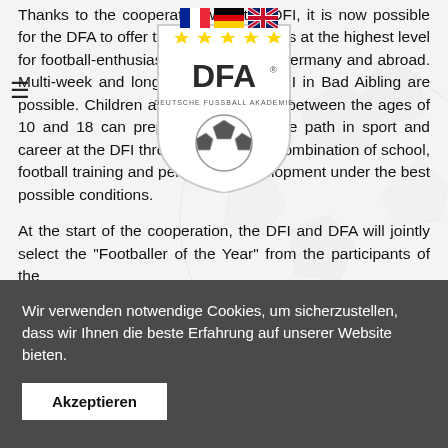[Figure (logo): DFA (Deutsche Fussball Akademie) shield logo with 4 gold stars, DFA text, and football at bottom. French, German, and UK flag icons in top area.]
Thanks to the cooperation with the DFI, it is now possible for the DFA to offer training opportunities at the highest level for football-enthusiastic children from Germany and abroad. Multi-week and longer stays at the DFI in Bad Aibling are possible. Children and young people between the ages of 10 and 18 can prepare for their future path in sport and career at the DFI through the optimal combination of school, football training and personality development under the best possible conditions.
At the start of the cooperation, the DFI and DFA will jointly select the "Footballer of the Year" from the participants of the
Wir verwenden notwendige Cookies, um sicherzustellen, dass wir Ihnen die beste Erfahrung auf unserer Website bieten.
Akzeptieren